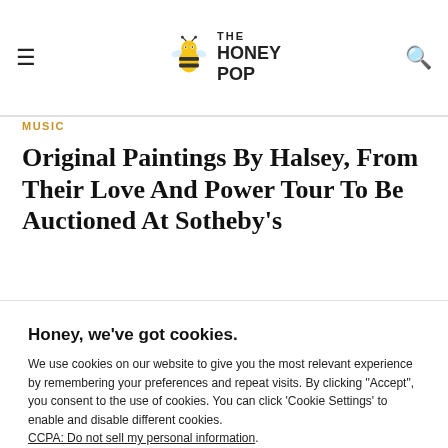THE HONEY POP
MUSIC
Original Paintings By Halsey, From Their Love And Power Tour To Be Auctioned At Sotheby's
Honey, we've got cookies.
We use cookies on our website to give you the most relevant experience by remembering your preferences and repeat visits. By clicking "Accept", you consent to the use of cookies. You can click 'Cookie Settings' to enable and disable different cookies.
CCPA: Do not sell my personal information.
Cookie Settings   Read More
Accept   Reject All